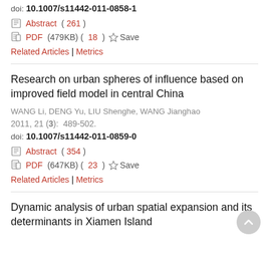doi: 10.1007/s11442-011-0858-1
Abstract ( 261 )
PDF (479KB) ( 18 ) Save
Related Articles | Metrics
Research on urban spheres of influence based on improved field model in central China
WANG Li, DENG Yu, LIU Shenghe, WANG Jianghao
2011, 21 (3): 489-502.
doi: 10.1007/s11442-011-0859-0
Abstract ( 354 )
PDF (647KB) ( 23 ) Save
Related Articles | Metrics
Dynamic analysis of urban spatial expansion and its determinants in Xiamen Island